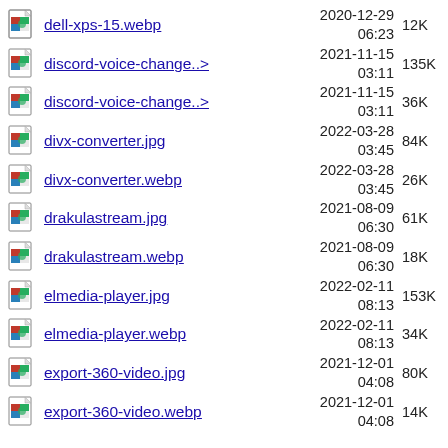dell-xps-15.webp  2020-12-29 06:23  12K
discord-voice-change..>  2021-11-15 03:11  135K
discord-voice-change..>  2021-11-15 03:11  36K
divx-converter.jpg  2022-03-28 03:45  84K
divx-converter.webp  2022-03-28 03:45  26K
drakulastream.jpg  2021-08-09 06:30  61K
drakulastream.webp  2021-08-09 06:30  18K
elmedia-player.jpg  2022-02-11 08:13  153K
elmedia-player.webp  2022-02-11 08:13  34K
export-360-video.jpg  2021-12-01 04:08  80K
export-360-video.webp  2021-12-01 04:08  14K